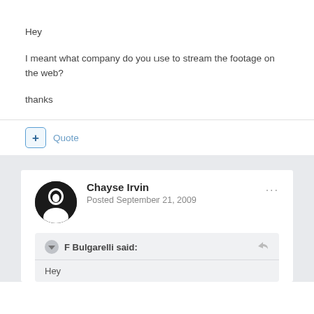Hey
I meant what company do you use to stream the footage on the web?
thanks
+ Quote
Chayse Irvin
Posted September 21, 2009
F Bulgarelli said:
Hey